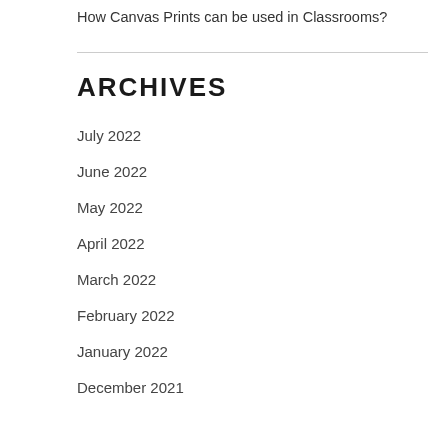How Canvas Prints can be used in Classrooms?
ARCHIVES
July 2022
June 2022
May 2022
April 2022
March 2022
February 2022
January 2022
December 2021
November 2021
October 2021